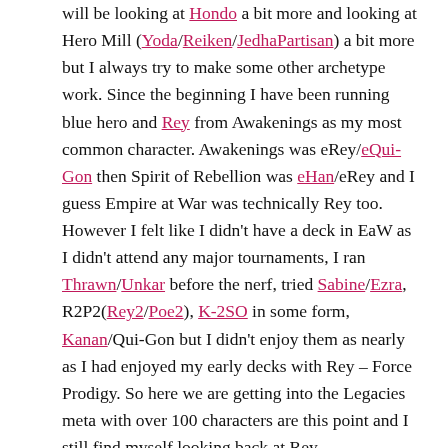will be looking at Hondo a bit more and looking at Hero Mill (Yoda/Reiken/JedhaPartisan) a bit more but I always try to make some other archetype work. Since the beginning I have been running blue hero and Rey from Awakenings as my most common character. Awakenings was eRey/eQui-Gon then Spirit of Rebellion was eHan/eRey and I guess Empire at War was technically Rey too.  However I felt like I didn't have a deck in EaW as I didn't attend any major tournaments, I ran Thrawn/Unkar before the nerf, tried Sabine/Ezra, R2P2(Rey2/Poe2), K-2SO in some form, Kanan/Qui-Gon but I didn't enjoy them as nearly as I had enjoyed my early decks with Rey – Force Prodigy. So here we are getting into the Legacies meta with over 100 characters are this point and I still find myself looking back at Rey.
With my weekly tournaments and general online hype I know that Tarkin/SeventhSister and Yoda was bound to